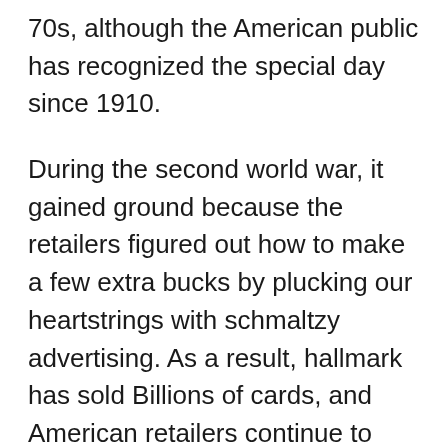70s, although the American public has recognized the special day since 1910.
During the second world war, it gained ground because the retailers figured out how to make a few extra bucks by plucking our heartstrings with schmaltzy advertising. As a result, hallmark has sold Billions of cards, and American retailers continue to milk this golden cash cow dry.
Around our house in the 1950s, “Father’s Day” wasn’t considered an extravaganza. My Dad mowed the yard or made repairs on